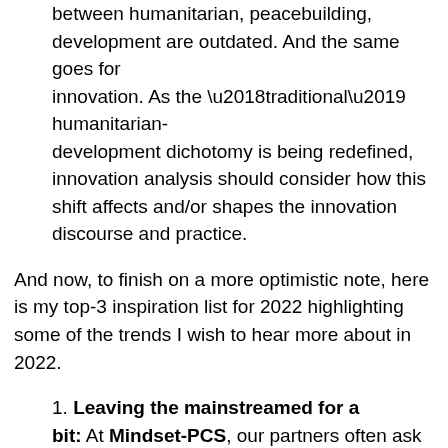between humanitarian, peacebuilding, development are outdated. And the same goes for innovation. As the ‘traditional’ humanitarian-development dichotomy is being redefined, innovation analysis should consider how this shift affects and/or shapes the innovation discourse and practice.
And now, to finish on a more optimistic note, here is my top-3 inspiration list for 2022 highlighting some of the trends I wish to hear more about in 2022.
1. Leaving the mainstreamed for a bit: At Mindset-PCS, our partners often ask us to conduct mapping of what is out there, what we know, what we see (e.g. humanitarian innovation